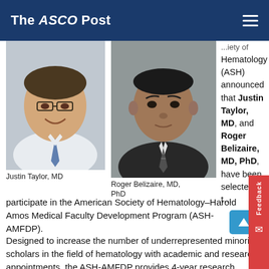The ASCO Post
[Figure (photo): Headshot of Justin Taylor, MD, a physician in a white coat smiling]
Justin Taylor, MD
[Figure (photo): Headshot of Roger Belizaire, MD, PhD, a physician in a suit and tie in black and white]
Roger Belizaire, MD, PhD
...Society of Hematology (ASH) announced that Justin Taylor, MD, and Roger Belizaire, MD, PhD, have been selected to participate in the American Society of Hematology–Harold Amos Medical Faculty Development Program (ASH-AMFDP).
Designed to increase the number of underrepresented minority scholars in the field of hematology with academic and research appointments, the ASH-AMFDP provides 4-year research awards, including an annual stipend of up to $75,000 and an annual research grant of $30,000, for a total of $420,000 over the course of the program. Drs. Taylor and Belizaire will spend at least 70% of their ASH-AMFDP–